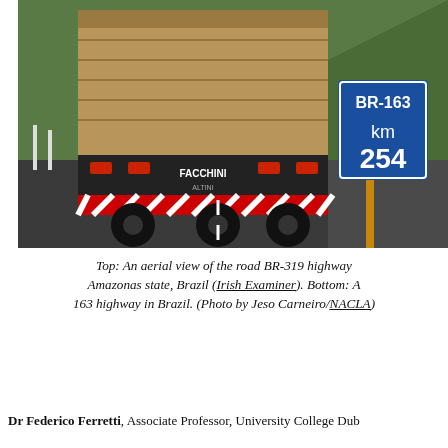[Figure (photo): Photo of the rear of a large truck (FACCHINI brand) on a Brazilian highway, with a blue road sign reading BR-163 km 254 on the right side, green hills in the background.]
Top: An aerial view of the road BR-319 highway Amazonas state, Brazil (Irish Examiner). Bottom: A 163 highway in Brazil. (Photo by Jeso Carneiro/NACLA)
Dr Federico Ferretti, Associate Professor, University College Dub